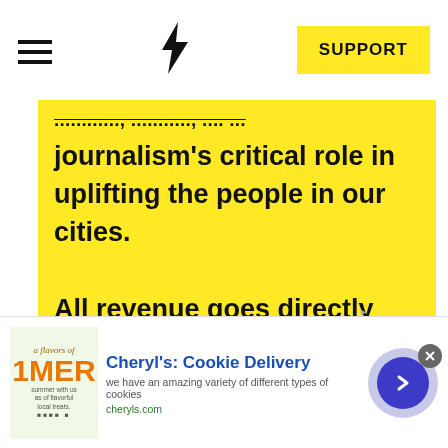☰ ⚡ SUPPORT
...and, uplifting the journalism's critical role in uplifting the people in our cities.
All revenue goes directly into the newsroom as reporters' salaries and freelance commissions.
⟩ JOIN THE SOCIETY ⟨
[Figure (advertisement): Cheryl's Cookie Delivery ad banner with cookie image, title, description and arrow button]